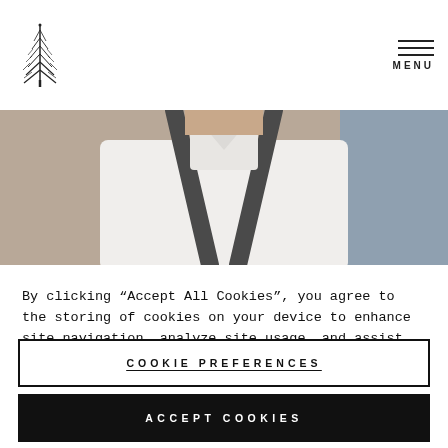Logo and MENU navigation header
[Figure (photo): A chef wearing a white chef coat and dark apron straps, photographed from shoulders up in a kitchen environment]
By clicking “Accept All Cookies”, you agree to the storing of cookies on your device to enhance site navigation, analyze site usage, and assist in our marketing efforts.
COOKIE PREFERENCES
ACCEPT COOKIES